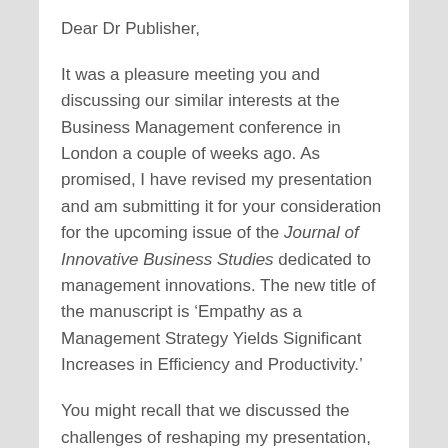Dear Dr Publisher,
It was a pleasure meeting you and discussing our similar interests at the Business Management conference in London a couple of weeks ago. As promised, I have revised my presentation and am submitting it for your consideration for the upcoming issue of the Journal of Innovative Business Studies dedicated to management innovations. The new title of the manuscript is ‘Empathy as a Management Strategy Yields Significant Increases in Efficiency and Productivity.’
You might recall that we discussed the challenges of reshaping my presentation, which was designed to represent a journey of...